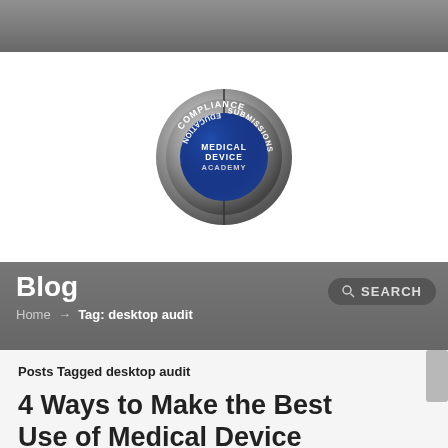[Figure (logo): Medical Device Academy logo — circular badge with concentric rings, blue center reading 'MEDICAL DEVICE ACADEMY', outer ring labeled COMPLIANCE, EDUCATION, SUBMISSIONS in silver/metallic style]
Blog
Home → Tag: desktop audit
Posts Tagged desktop audit
4 Ways to Make the Best Use of Medical Device Remote Audits
Posted by Rob Packard on June 10, 2014